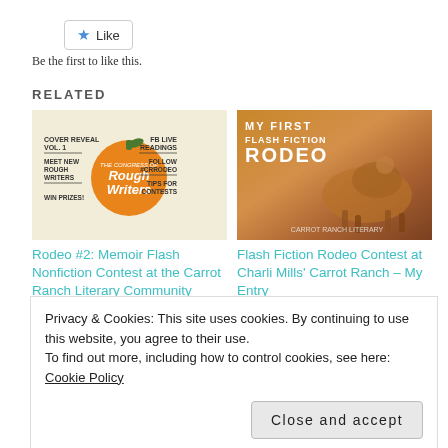[Figure (other): Like button with blue star icon]
Be the first to like this.
RELATED
[Figure (other): Rough Writers cover reveal promotional image with pumpkin logo]
[Figure (photo): Photo of horse rider at rodeo with text overlay: MY FIRST FLASH FICTION RODEO]
Rodeo #2: Memoir Flash Nonfiction Contest at the Carrot Ranch Literary Community
Flash Fiction Rodeo Contest at Charli Mills' Carrot Ranch – My Entry
Privacy & Cookies: This site uses cookies. By continuing to use this website, you agree to their use.
To find out more, including how to control cookies, see here: Cookie Policy
Close and accept